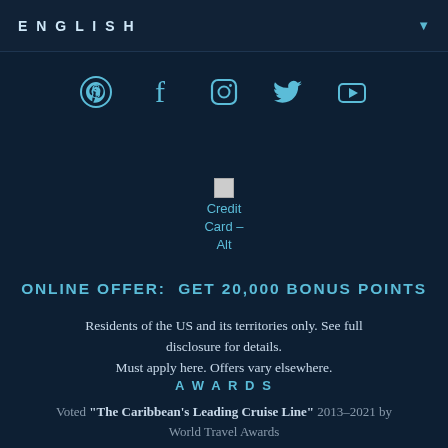ENGLISH
[Figure (other): Social media icons row: Pinterest, Facebook, Instagram, Twitter, YouTube]
[Figure (other): Broken credit card image with alt text: Credit Card - Alt]
ONLINE OFFER:  GET 20,000 BONUS POINTS
Residents of the US and its territories only. See full disclosure for details. Must apply here. Offers vary elsewhere.
AWARDS
Voted "The Caribbean's Leading Cruise Line" 2013–2021 by World Travel Awards